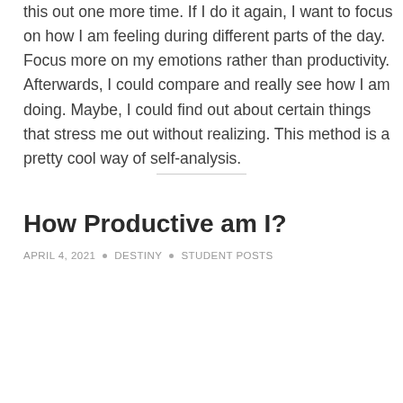this out one more time. If I do it again, I want to focus on how I am feeling during different parts of the day. Focus more on my emotions rather than productivity. Afterwards, I could compare and really see how I am doing. Maybe, I could find out about certain things that stress me out without realizing. This method is a pretty cool way of self-analysis.
How Productive am I?
APRIL 4, 2021 • DESTINY • STUDENT POSTS